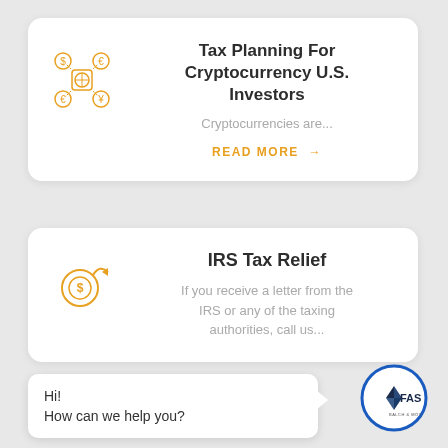Tax Planning For Cryptocurrency U.S. Investors
Cryptocurrencies are...
READ MORE →
IRS Tax Relief
If you receive a letter from the IRS or any of the taxing authorities, call us...
Hi!
How can we help you?
[Figure (logo): FAS company logo — blue circle with diamond and FAS text]